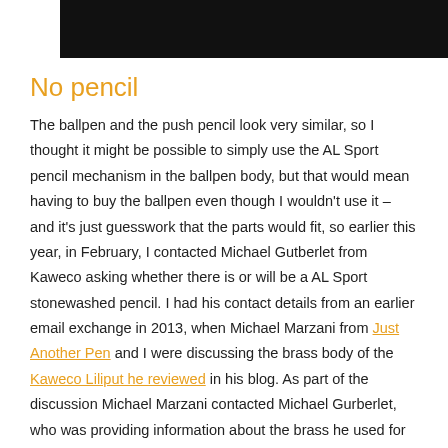[Figure (photo): Top portion of a photo, mostly dark/black area, cropped at the top of the page]
No pencil
The ballpen and the push pencil look very similar, so I thought it might be possible to simply use the AL Sport pencil mechanism in the ballpen body, but that would mean having to buy the ballpen even though I wouldn't use it – and it's just guesswork that the parts would fit, so earlier this year, in February, I contacted Michael Gutberlet from Kaweco asking whether there is or will be a AL Sport stonewashed pencil. I had his contact details from an earlier email exchange in 2013, when Michael Marzani from Just Another Pen and I were discussing the brass body of the Kaweco Liliput he reviewed in his blog. As part of the discussion Michael Marzani contacted Michael Gurberlet, who was providing information about the brass he used for this pen.